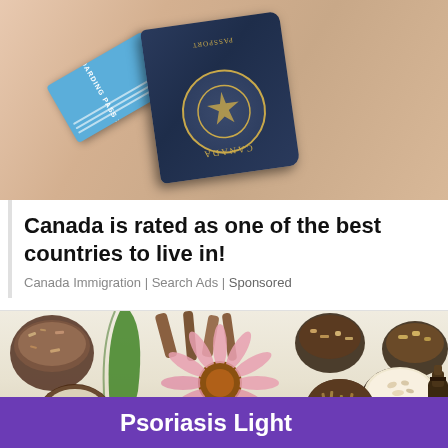[Figure (photo): Person holding a Canadian passport and boarding pass]
Canada is rated as one of the best countries to live in!
Canada Immigration | Search Ads | Sponsored
[Figure (photo): Herbal ingredients and bowls on white surface with pink echinacea flower, and purple banner reading 'Psoriasis Light']